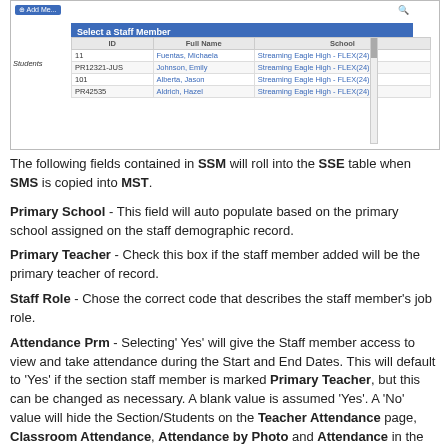[Figure (screenshot): Screenshot of a 'Select a Staff Member' interface showing a table with columns ID, Full Name, School and several staff rows listed.]
The following fields contained in SSM will roll into the SSE table when SMS is copied into MST.
Primary School - This field will auto populate based on the primary school assigned on the staff demographic record.
Primary Teacher - Check this box if the staff member added will be the primary teacher of record.
Staff Role - Chose the correct code that describes the staff member's job role.
Attendance Prm - Selecting' Yes' will give the Staff member access to view and take attendance during the Start and End Dates. This will default to 'Yes' if the section staff member is marked Primary Teacher, but this can be changed as necessary. A blank value is assumed 'Yes'. A 'No' value will hide the Section/Students on the Teacher Attendance page, Classroom Attendance, Attendance by Photo and Attendance in the Teacher App, regardless of the Start and End Dates found on the MST Section Staff record.
Gradebook Prm - Selecting Yes will give the staff member access to review and edit the gradebook. This field will automatically be...